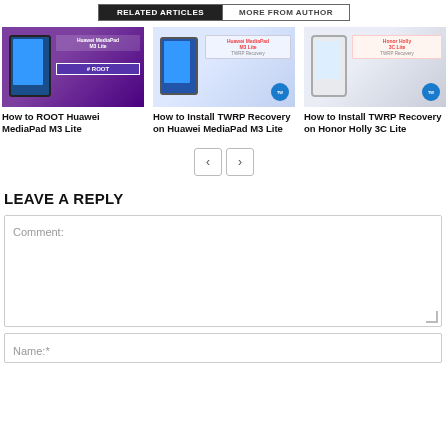RELATED ARTICLES | MORE FROM AUTHOR
[Figure (screenshot): Thumbnail for How to ROOT Huawei MediaPad M3 Lite article]
How to ROOT Huawei MediaPad M3 Lite
[Figure (screenshot): Thumbnail for How to Install TWRP Recovery on Huawei MediaPad M3 Lite article]
How to Install TWRP Recovery on Huawei MediaPad M3 Lite
[Figure (screenshot): Thumbnail for How to Install TWRP Recovery on Honor Holly 3C Lite article]
How to Install TWRP Recovery on Honor Holly 3C Lite
LEAVE A REPLY
Comment:
Name:*